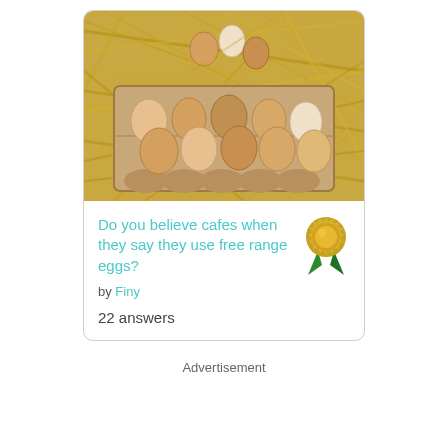[Figure (photo): Photo of a cardboard egg carton with brown and white eggs on a bed of straw/hay]
Do you believe cafes when they say they use free range eggs?
by Finy
22 answers
Advertisement